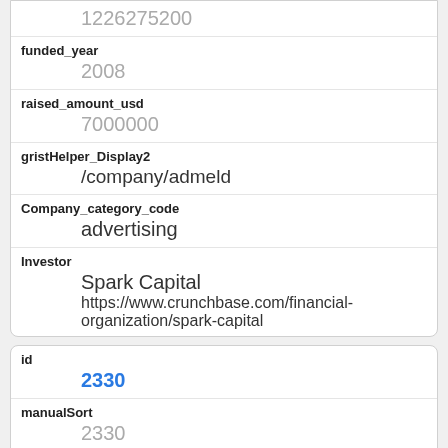| 1226275200 |
| funded_year | 2008 |
| raised_amount_usd | 7000000 |
| gristHelper_Display2 | /company/admeld |
| Company_category_code | advertising |
| Investor | Spark Capital
https://www.crunchbase.com/financial-organization/spark-capital |
| id | 2330 |
| manualSort | 2330 |
| Company | 38 |